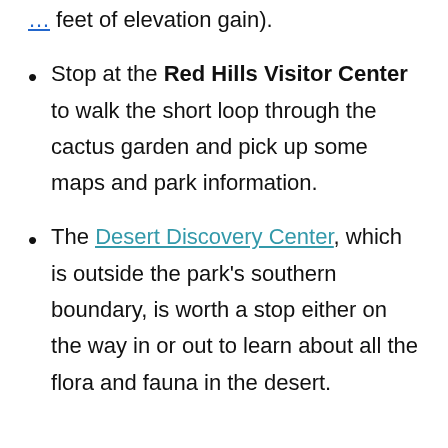feet of elevation gain).
Stop at the Red Hills Visitor Center to walk the short loop through the cactus garden and pick up some maps and park information.
The Desert Discovery Center, which is outside the park's southern boundary, is worth a stop either on the way in or out to learn about all the flora and fauna in the desert.